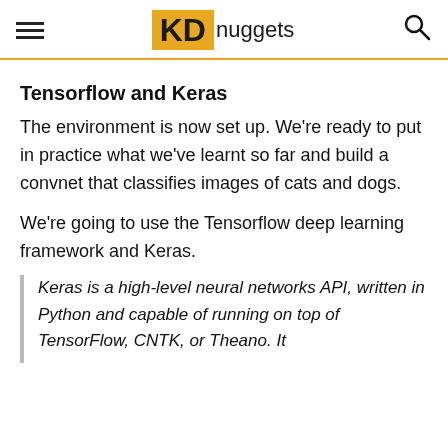KD nuggets
Tensorflow and Keras
The environment is now set up. We're ready to put in practice what we've learnt so far and build a convnet that classifies images of cats and dogs.
We're going to use the Tensorflow deep learning framework and Keras.
Keras is a high-level neural networks API, written in Python and capable of running on top of TensorFlow, CNTK, or Theano. It